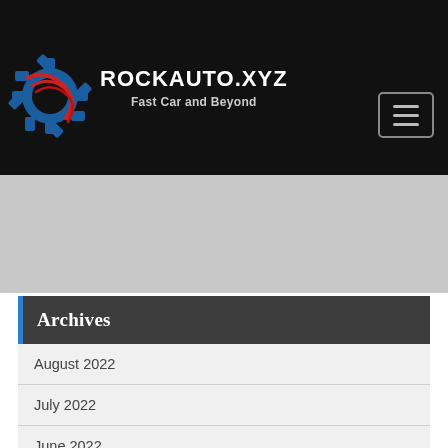ROCKAUTO.XYZ — Fast Car and Beyond
[Figure (logo): RockAuto.xyz logo: a blue gear with red swoosh lines forming a stylized car/speed symbol]
Archives
August 2022
July 2022
June 2022
May 2022